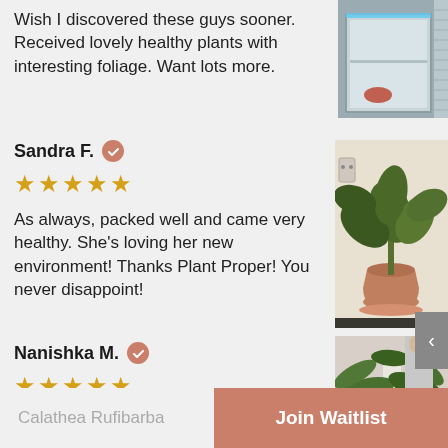Wish I discovered these guys sooner. Received lovely healthy plants with interesting foliage. Want lots more.
[Figure (photo): Photo of a glass cabinet with blue LED lighting]
Sandra F. ✓
★★★★★
As always, packed well and came very healthy.  She's loving her new environment! Thanks Plant Proper! You never disappoint!
[Figure (photo): Photo of a healthy green plant in a terracotta pot on a shelf]
Nanishka M. ✓
★★★★★
Honestly my Rufibarba isn't finicky or a diva. Very well
[Figure (photo): Photo of a green leafy plant with white stem]
Calathea Rufibarba
Join Waitlist